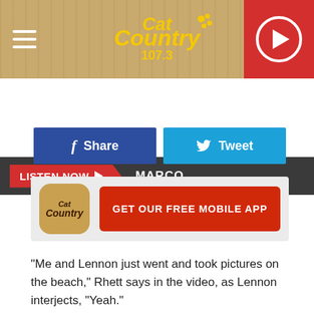[Figure (logo): Cat Country 107.3 radio station header with logo, hamburger menu, and play button]
[Figure (screenshot): LISTEN NOW button with red background and play arrow, followed by MARCO station name on dark bar]
[Figure (screenshot): Facebook Share and Twitter Tweet social sharing buttons]
[Figure (screenshot): Cat Country mobile app promo banner with orange icon and red GET OUR FREE MOBILE APP button]
"Me and Lennon just went and took pictures on the beach," Rhett says in the video, as Lennon interjects, "Yeah."
"Listening to 'Slow Down Summer' on the radio. No. 1 song in the country right now," the country superstar continues. "What you think, girl?" But Lennon doesn't quite match her dad's excitement: Instead, she fixes a somber — but adorable